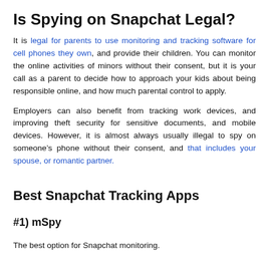Is Spying on Snapchat Legal?
It is legal for parents to use monitoring and tracking software for cell phones they own, and provide their children. You can monitor the online activities of minors without their consent, but it is your call as a parent to decide how to approach your kids about being responsible online, and how much parental control to apply.
Employers can also benefit from tracking work devices, and improving theft security for sensitive documents, and mobile devices. However, it is almost always usually illegal to spy on someone’s phone without their consent, and that includes your spouse, or romantic partner.
Best Snapchat Tracking Apps
#1) mSpy
The best option for Snapchat monitoring.